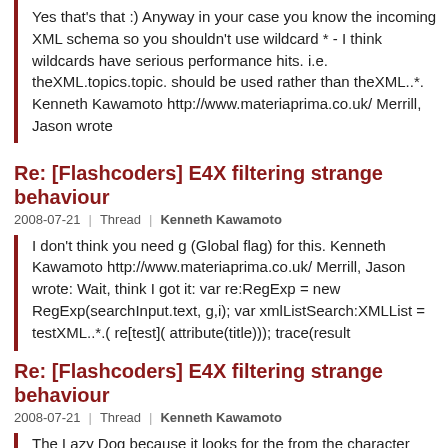Yes that's that :) Anyway in your case you know the incoming XML schema so you shouldn't use wildcard * - I think wildcards have serious performance hits. i.e. theXML.topics.topic. should be used rather than theXML..*. Kenneth Kawamoto http://www.materiaprima.co.uk/ Merrill, Jason wrote
Re: [Flashcoders] E4X filtering strange behaviour
2008-07-21  |  Thread  |  Kenneth Kawamoto
I don't think you need g (Global flag) for this. Kenneth Kawamoto http://www.materiaprima.co.uk/ Merrill, Jason wrote: Wait, think I got it: var re:RegExp = new RegExp(searchInput.text, g,i); var xmlListSearch:XMLList = testXML..*.( re[test]( attribute(title))); trace(result
Re: [Flashcoders] E4X filtering strange behaviour
2008-07-21  |  Thread  |  Kenneth Kawamoto
The Lazy Dog because it looks for the from the character 41 onwards, namely Dog, which has no the. Kenneth Kawamoto http://www.materiaprima.co.uk/ Merrill, Jason wrote: OK, I'm like 95% there, but there is still some kind of bug - here is how to reproduce: var testXML:XML = data topics